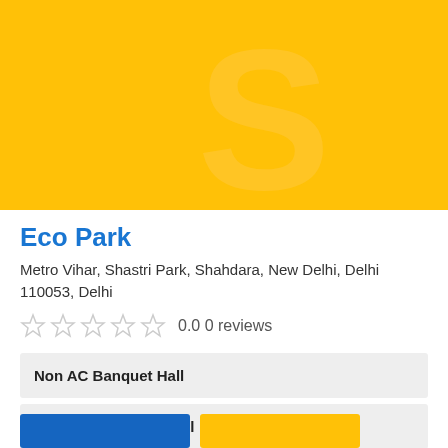[Figure (illustration): Yellow/amber background banner with a large semi-transparent 'S' letter watermark logo centered]
Eco Park
Metro Vihar, Shastri Park, Shahdara, New Delhi, Delhi 110053, Delhi
0.0 0 reviews
Non AC Banquet Hall
Roof Top Banquet Hall